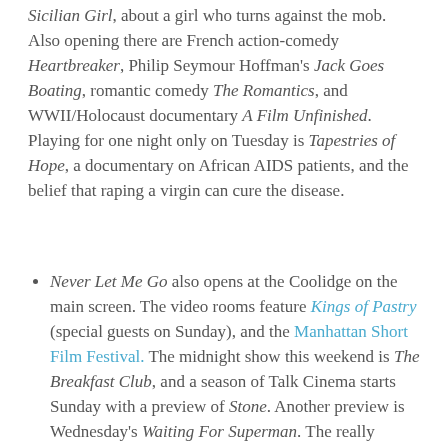Sicilian Girl, about a girl who turns against the mob. Also opening there are French action-comedy Heartbreaker, Philip Seymour Hoffman's Jack Goes Boating, romantic comedy The Romantics, and WWII/Holocaust documentary A Film Unfinished. Playing for one night only on Tuesday is Tapestries of Hope, a documentary on African AIDS patients, and the belief that raping a virgin can cure the disease.
Never Let Me Go also opens at the Coolidge on the main screen. The video rooms feature Kings of Pastry (special guests on Sunday), and the Manhattan Short Film Festival. The midnight show this weekend is The Breakfast Club, and a season of Talk Cinema starts Sunday with a preview of Stone. Another preview is Wednesday's Waiting For Superman. The really potentially cool thing is the Steamboat Bill, Jr.